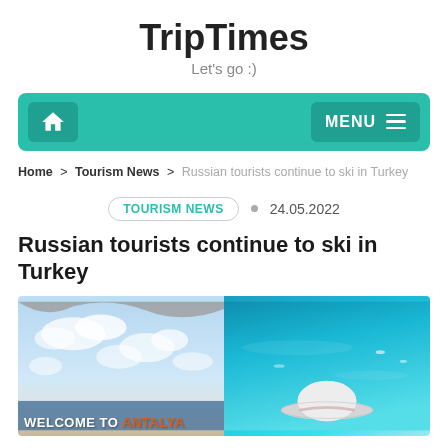TripTimes
Let's go :)
[Figure (screenshot): Navigation bar with home icon on left and MENU button on right, teal/green background]
Home > Tourism News > Russian tourists continue to ski in Turkey
TOURISM NEWS  •  24.05.2022
Russian tourists continue to ski in Turkey
[Figure (photo): Two-panel image: left panel shows sky with clouds and 'WELCOME TO ANTALYA' text overlay; right panel shows turquoise sea water with a white hat]